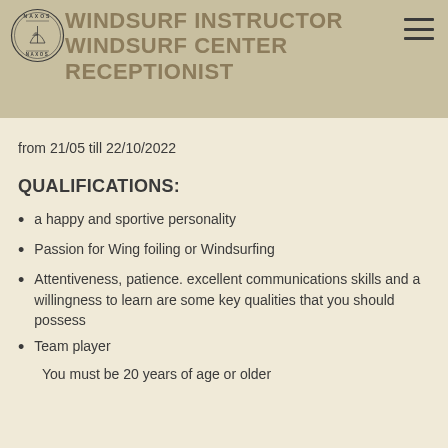[Figure (logo): Circular logo with text NAXOS and an emblem illustration]
WINDSURF INSTRUCTOR WINDSURF CENTER RECEPTIONIST
from 21/05 till 22/10/2022
QUALIFICATIONS:
a happy and sportive personality
Passion for Wing foiling or Windsurfing
Attentiveness, patience. excellent communications skills and a willingness to learn are some key qualities that you should possess
Team player
You must be 20 years of age or older